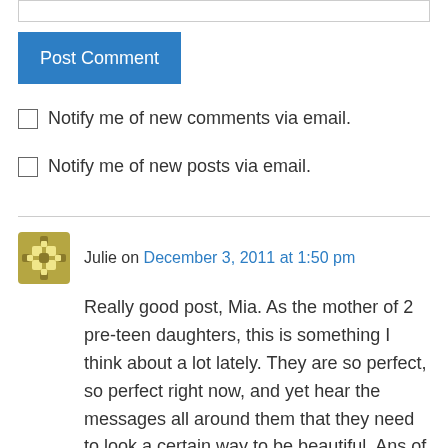Post Comment
Notify me of new comments via email.
Notify me of new posts via email.
Julie on December 3, 2011 at 1:50 pm
Really good post, Mia. As the mother of 2 pre-teen daughters, this is something I think about a lot lately. They are so perfect, so perfect right now, and yet hear the messages all around them that they need to look a certain way to be beautiful. Ans of course I struggle with it, it took running a half-marathon to finally love my things,